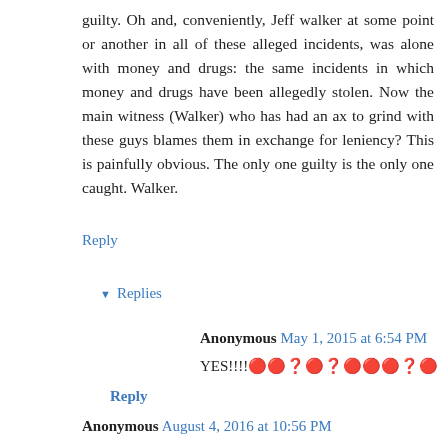guilty. Oh and, conveniently, Jeff walker at some point or another in all of these alleged incidents, was alone with money and drugs: the same incidents in which money and drugs have been allegedly stolen. Now the main witness (Walker) who has had an ax to grind with these guys blames them in exchange for leniency? This is painfully obvious. The only one guilty is the only one caught. Walker.
Reply
▾ Replies
Anonymous May 1, 2015 at 6:54 PM
YES!!!!🔴🔴❓🔴❓🔴🔴🔴❓🔴
Reply
Anonymous August 4, 2016 at 10:56 PM